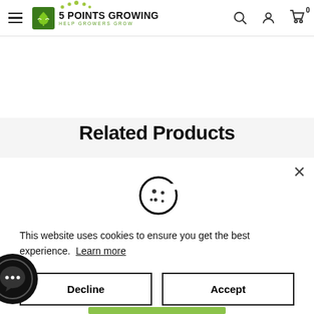5 POINTS GROWING — HELP GROWERS GROW
Related Products
[Figure (screenshot): Cookie consent modal overlay with cookie icon, message 'This website uses cookies to ensure you get the best experience. Learn more', Decline and Accept buttons, and a chat widget in the bottom-left corner.]